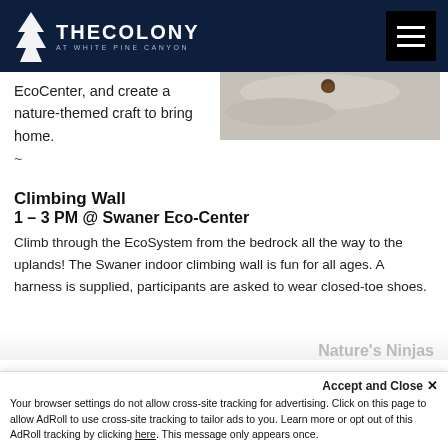THE COLONY AT WHITE PINE CANYON
EcoCenter, and create a nature-themed craft to bring home.
~
[Figure (photo): Close-up nature photo showing a seed or insect on a textured surface]
Climbing Wall
1 – 3 PM @ Swaner Eco-Center
Climb through the EcoSystem from the bedrock all the way to the uplands! The Swaner indoor climbing wall is fun for all ages. A harness is supplied, participants are asked to wear closed-toe shoes.
Accept and Close ✕ Your browser settings do not allow cross-site tracking for advertising. Click on this page to allow AdRoll to use cross-site tracking to tailor ads to you. Learn more or opt out of this AdRoll tracking by clicking here. This message only appears once.
Nature's Ninjas